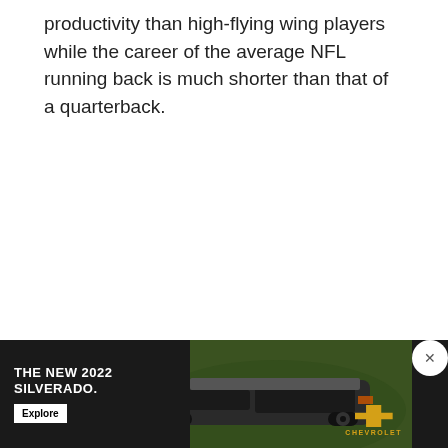productivity than high-flying wing players while the career of the average NFL running back is much shorter than that of a quarterback.
Over time, better nutrition and training methods have been invent[ed] becom[ing] ir[relevant]
[Figure (photo): Chevrolet advertisement banner for The New 2022 Silverado, showing a truck in an outdoor setting with an Explore button and the Chevrolet logo. A close (X) button appears in the top right corner.]